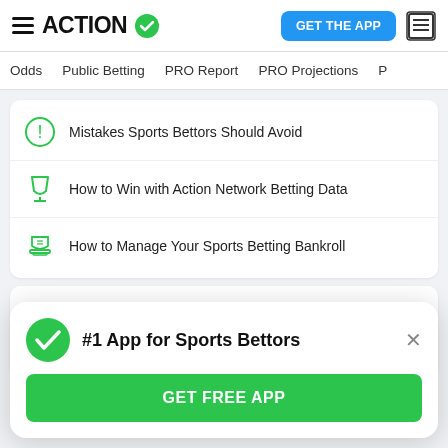ACTION (logo with checkmark) | GET THE APP
Odds | Public Betting | PRO Report | PRO Projections
Mistakes Sports Bettors Should Avoid
How to Win with Action Network Betting Data
How to Manage Your Sports Betting Bankroll
NFL Betting Education
#1 App for Sports Bettors
GET FREE APP